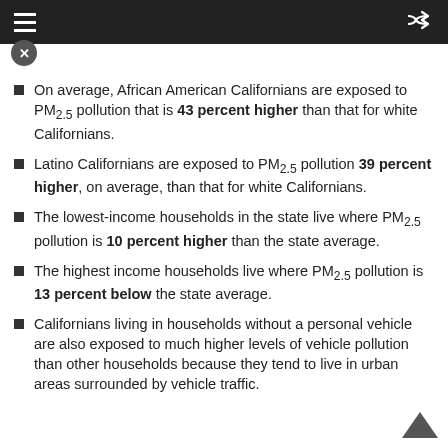Navigation bar with hamburger menu and shuffle icon
On average, African American Californians are exposed to PM2.5 pollution that is 43 percent higher than that for white Californians.
Latino Californians are exposed to PM2.5 pollution 39 percent higher, on average, than that for white Californians.
The lowest-income households in the state live where PM2.5 pollution is 10 percent higher than the state average.
The highest income households live where PM2.5 pollution is 13 percent below the state average.
Californians living in households without a personal vehicle are also exposed to much higher levels of vehicle pollution than other households because they tend to live in urban areas surrounded by vehicle traffic.